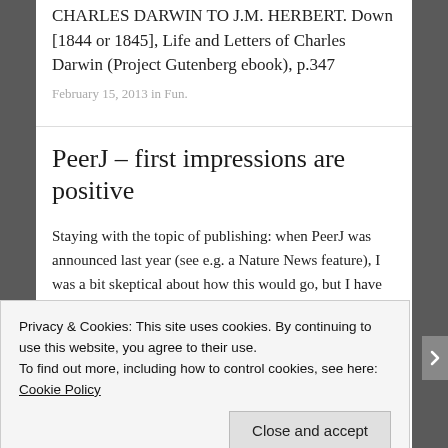CHARLES DARWIN TO J.M. HERBERT. Down [1844 or 1845], Life and Letters of Charles Darwin (Project Gutenberg ebook), p.347
February 15, 2013 in Fun.
PeerJ – first impressions are positive
Staying with the topic of publishing: when PeerJ was announced last year (see e.g. a Nature News feature), I was a bit skeptical about how this would go, but I have to admit that my impression about the first articles that have been put online this week is
Privacy & Cookies: This site uses cookies. By continuing to use this website, you agree to their use.
To find out more, including how to control cookies, see here: Cookie Policy
Close and accept